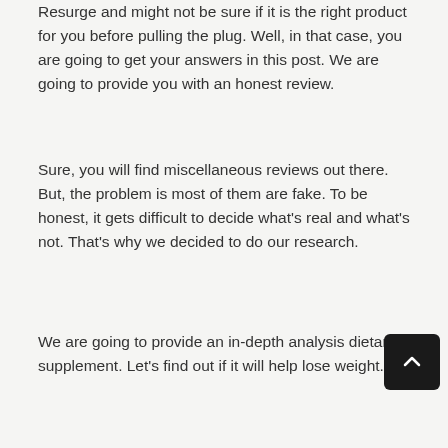Resurge and might not be sure if it is the right product for you before pulling the plug. Well, in that case, you are going to get your answers in this post. We are going to provide you with an honest review.
Sure, you will find miscellaneous reviews out there. But, the problem is most of them are fake. To be honest, it gets difficult to decide what's real and what's not. That's why we decided to do our research.
We are going to provide an in-depth analysis dietary supplement. Let's find out if it will help lose weight.